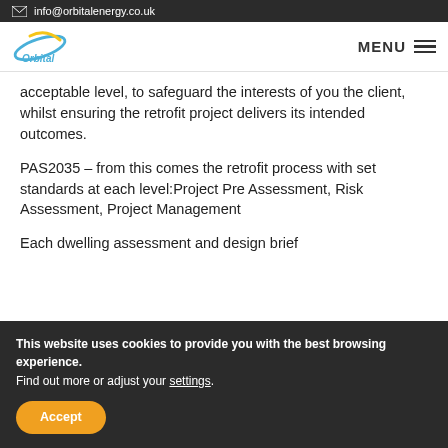info@orbitalenergy.co.uk
[Figure (logo): Orbital Energy logo with yellow and blue swoosh design and 'Orbital' text]
acceptable level, to safeguard the interests of you the client, whilst ensuring the retrofit project delivers its intended outcomes.
PAS2035 – from this comes the retrofit process with set standards at each level:Project Pre Assessment, Risk Assessment, Project Management
Each dwelling assessment and design brief
This website uses cookies to provide you with the best browsing experience.
Find out more or adjust your settings.